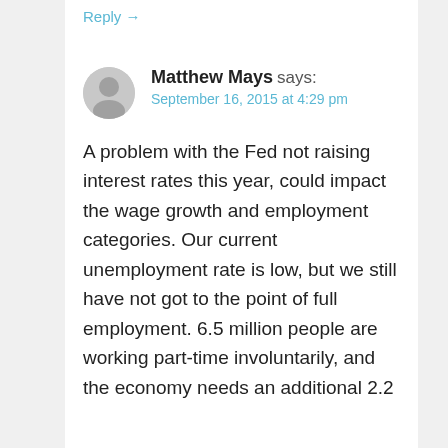Reply →
Matthew Mays says:
September 16, 2015 at 4:29 pm
A problem with the Fed not raising interest rates this year, could impact the wage growth and employment categories. Our current unemployment rate is low, but we still have not got to the point of full employment. 6.5 million people are working part-time involuntarily, and the economy needs an additional 2.2